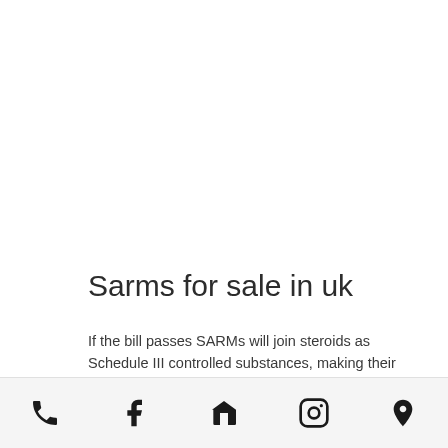Sarms for sale in uk
If the bill passes SARMs will join steroids as Schedule III controlled substances, making their sale illegalwithout due process.
If the SARMs are regulated it would be akin
Navigation icons: phone, facebook, home, instagram, location